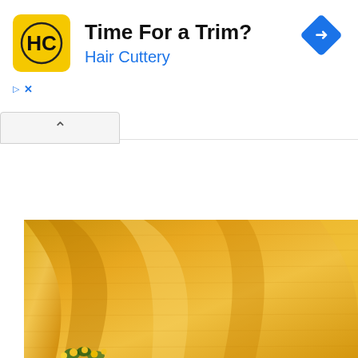[Figure (screenshot): Advertisement banner for Hair Cuttery with yellow logo, 'Time For a Trim?' headline, blue 'Hair Cuttery' subtext, blue diamond navigation icon, ad disclosure triangle and X button, and a collapse chevron bar below]
[Figure (photo): Close-up photo of yellow/golden textured fabric with soft folds and draping, with small yellow flowers visible at the bottom edge]